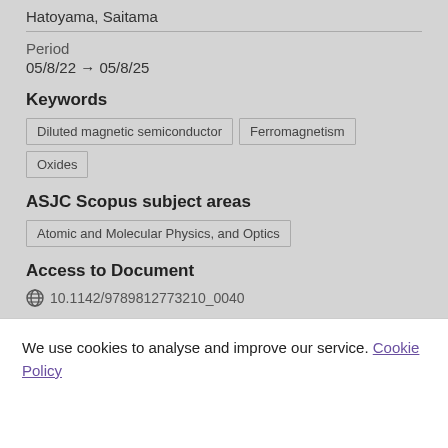Hatoyama, Saitama
Period
05/8/22 → 05/8/25
Keywords
Diluted magnetic semiconductor
Ferromagnetism
Oxides
ASJC Scopus subject areas
Atomic and Molecular Physics, and Optics
Access to Document
10.1142/9789812773210_0040
We use cookies to analyse and improve our service. Cookie Policy